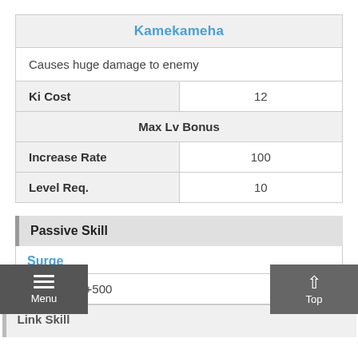Kamekameha
Causes huge damage to enemy
|  |  |
| --- | --- |
| Ki Cost | 12 |
| Max Lv Bonus |  |
| Increase Rate | 100 |
| Level Req. | 10 |
Passive Skill
Surge
allies' ATK +500
Link Skill